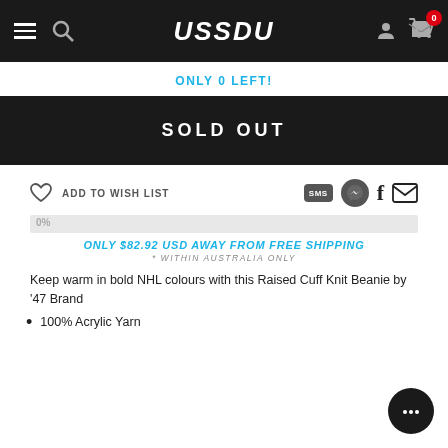USSDU
ONLY 0 LEFT!
SOLD OUT
ADD TO WISH LIST
0%
ONLY $82.92 USD AWAY FROM FREE SHIPPING
* WITHIN AUSTRALIA ONLY
Keep warm in bold NHL colours with this Raised Cuff Knit Beanie by '47 Brand
100% Acrylic Yarn